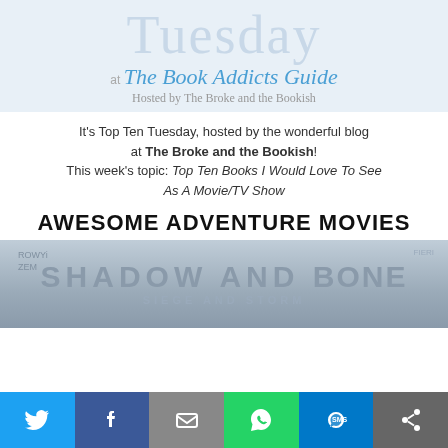Tuesday at The Book Addicts Guide Hosted by The Broke and the Bookish
It's Top Ten Tuesday, hosted by the wonderful blog at The Broke and the Bookish! This week's topic: Top Ten Books I Would Love To See As A Movie/TV Show
AWESOME ADVENTURE MOVIES
[Figure (illustration): Grayscale book cover image showing 'Shadow and Bone' title text in large letters with partial text below]
[Figure (infographic): Social sharing bar with Twitter, Facebook, Email, WhatsApp, SMS, and share buttons]